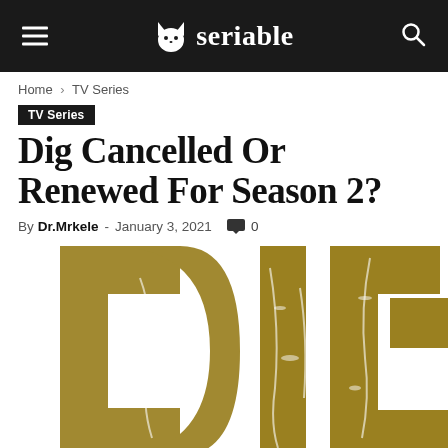seriable
Home › TV Series
TV Series
Dig Cancelled Or Renewed For Season 2?
By Dr.Mrkele - January 3, 2021  0
[Figure (photo): DIG TV show logo — large gold distressed letters spelling DIG on white background]